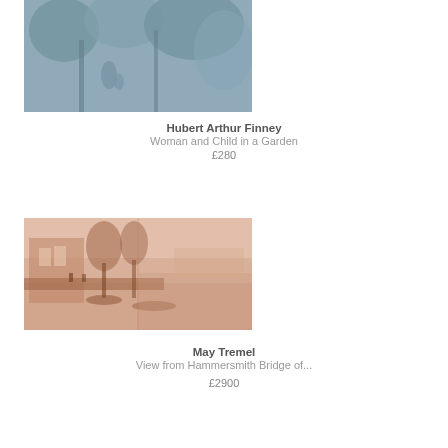[Figure (photo): Artwork image: Woman and Child in a Garden by Hubert Arthur Finney — a blue-toned painting of figures in a garden with trees and foliage]
Hubert Arthur Finney
Woman and Child in a Garden
£280
[Figure (photo): Artwork image: View from Hammersmith Bridge of... by May Tremel — a reddish-brown toned sketch showing a riverside scene with buildings, trees, and boats]
May Tremel
View from Hammersmith Bridge of...
£2900